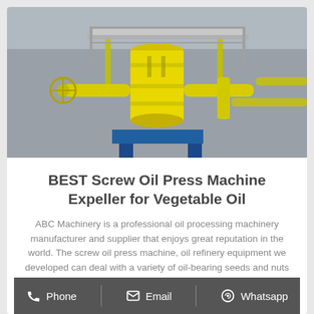[Figure (photo): Large yellow industrial screw oil press / expeller machinery with pipes and scaffolding, photographed outdoors at an industrial facility.]
BEST Screw Oil Press Machine Expeller for Vegetable Oil
ABC Machinery is a professional oil processing machinery manufacturer and supplier that enjoys great reputation in the world. The screw oil press machine, oil refinery equipment we developed can deal with a variety of oil-bearing seeds and nuts to produce
Phone   Email   Whatsapp